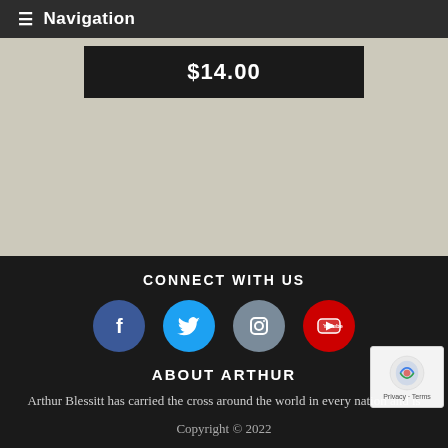Navigation
$14.00
CONNECT WITH US
[Figure (other): Social media icons: Facebook (blue circle with f), Twitter (light blue circle with bird), Instagram (grey circle with camera), YouTube (red circle with play button)]
ABOUT ARTHUR
Arthur Blessitt has carried the cross around the world in every nation and is listed in the Guinness World Records for the world's longest walk over 43,340 miles 69,748 km, in 324 countries, island groups & territories for 53
Copyright © 2022